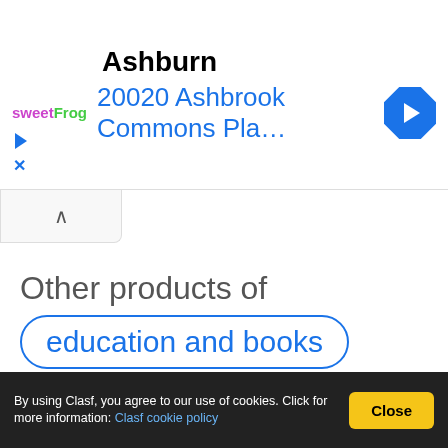[Figure (screenshot): Ad banner for sweetFrog frozen yogurt, Ashburn location at 20020 Ashbrook Commons Pla... with navigation arrow icon]
Other products of education and books similar to work study
By using Clasf, you agree to our use of cookies. Click for more information: Clasf cookie policy
Close